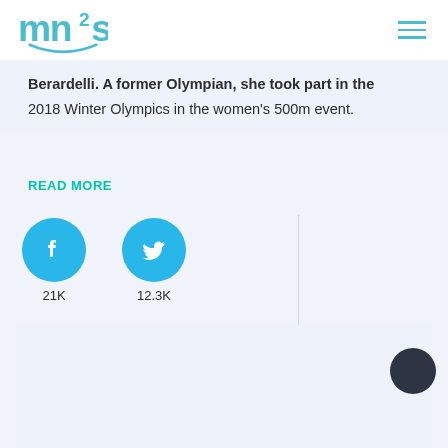mn2s [logo] with hamburger menu
Berardelli. A former Olympian, she took part in the 2018 Winter Olympics in the women's 500m event.
READ MORE
[Figure (infographic): Facebook circle button with count 21K and Twitter circle button with count 12.3K]
[Figure (photo): Light blue card area at the bottom of the page with a dark circular element in the upper right corner]